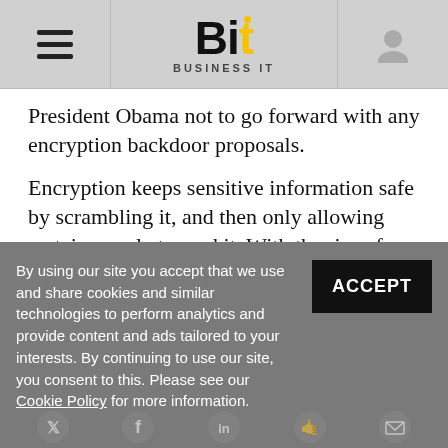Bit — Business IT
President Obama not to go forward with any encryption backdoor proposals.
Encryption keeps sensitive information safe by scrambling it, and then only allowing certain people to read it. With the rise of online banking fraud and events such as last year’s celebrity iCloud hacking, it’s seen as an important way to stay safe online.
By using our site you accept that we use and share cookies and similar technologies to perform analytics and provide content and ads tailored to your interests. By continuing to use our site, you consent to this. Please see our Cookie Policy for more information.